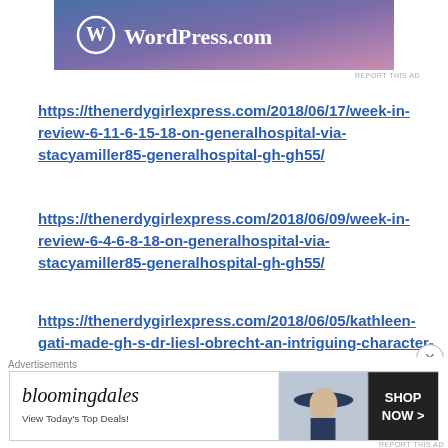[Figure (logo): WordPress.com banner with logo and gradient background (blue to pink)]
REPORT THIS AD
https://thenerdygirlexpress.com/2018/06/17/week-in-review-6-11-6-15-18-on-generalhospital-via-stacyamiller85-generalhospital-gh-gh55/
https://thenerdygirlexpress.com/2018/06/09/week-in-review-6-4-6-8-18-on-generalhospital-via-stacyamiller85-generalhospital-gh-gh55/
https://thenerdygirlexpress.com/2018/06/05/kathleen-gati-made-gh-s-dr-liesl-obrecht-an-intriguing-character-via-stacyamiller85-gatitweets-
Advertisements
[Figure (illustration): Bloomingdale's advertisement banner: logo, 'View Today's Top Deals!', woman with hat image, SHOP NOW button]